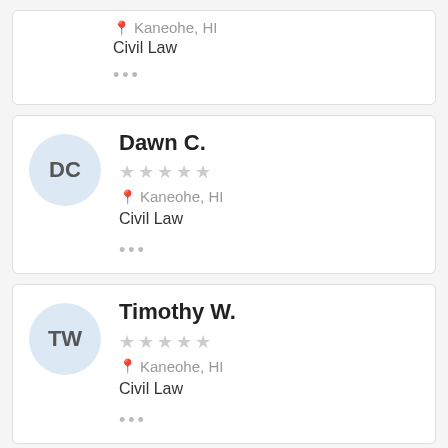Kaneohe, HI
Civil Law
Dawn C.
Kaneohe, HI
Civil Law
Timothy W.
Kaneohe, HI
Civil Law